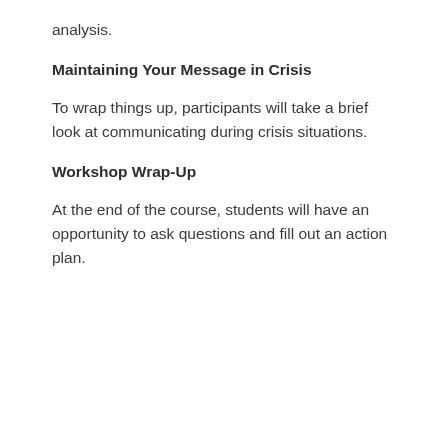analysis.
Maintaining Your Message in Crisis
To wrap things up, participants will take a brief look at communicating during crisis situations.
Workshop Wrap-Up
At the end of the course, students will have an opportunity to ask questions and fill out an action plan.